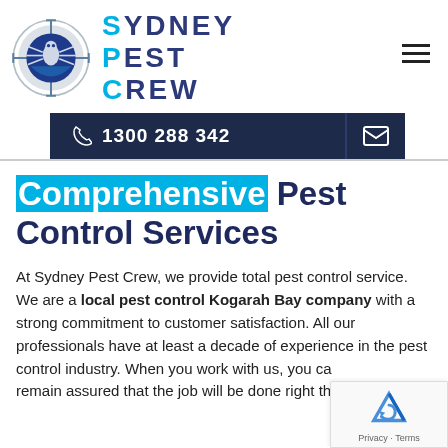[Figure (logo): Sydney Pest Crew logo: spider crosshair circle icon in blue/navy with 'SYDNEY PEST CREW' text in bold dark blue with cyan S, P, C letters]
Comprehensive Pest Control Services
At Sydney Pest Crew, we provide total pest control service. We are a local pest control Kogarah Bay company with a strong commitment to customer satisfaction. All our professionals have at least a decade of experience in the pest control industry. When you work with us, you can remain assured that the job will be done right the fir